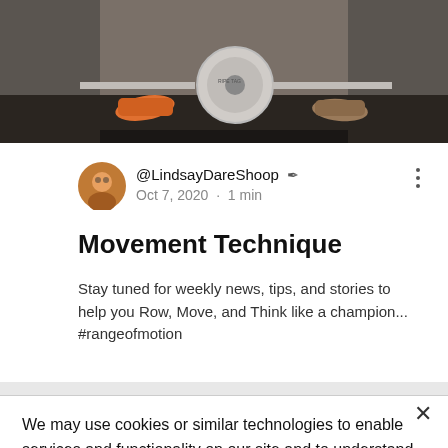[Figure (photo): Partial photo showing feet/shoes near a barbell weight on a gym floor]
@LindsayDareShoop ✒ Oct 7, 2020 · 1 min
Movement Technique
Stay tuned for weekly news, tips, and stories to help you Row, Move, and Think like a champion... #rangeofmotion
We may use cookies or similar technologies to enable services and functionality on our site and to understand your interaction with our service. By clicking accept, you agree to our use of such technologies for marketing and analytics. See Privacy Policy
Cookie Settings
Accept